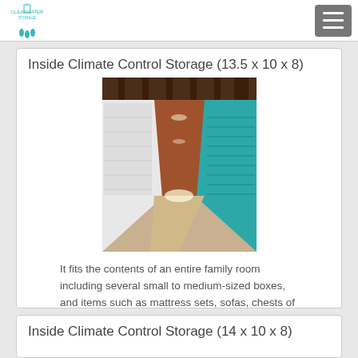Clearwater Storage
Inside Climate Control Storage (13.5 x 10 x 8)
[Figure (photo): Interior hallway of a climate-controlled storage facility with white metal roll-up doors on the left and teal/turquoise roll-up doors on the right, concrete floor, overhead lighting, perspective view down the corridor.]
It fits the contents of an entire family room including several small to medium-sized boxes, and items such as mattress sets, sofas, chests of drawers, bookcases, and desks.
$149 / month
Waiting List
Inside Climate Control Storage (14 x 10 x 8)